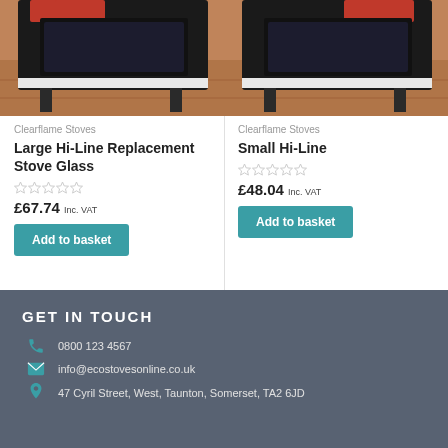[Figure (photo): Clearflame stove glass product image - black stove frame on wooden floor]
Clearflame Stoves
Large Hi-Line Replacement Stove Glass
★★★★★ (empty stars rating)
£67.74 Inc. VAT
Add to basket
[Figure (photo): Clearflame small hi-line stove glass product image - black stove frame on wooden floor]
Clearflame Stoves
Small Hi-Line
★★★★★ (empty stars rating)
£48.04 Inc. VAT
Add to basket
GET IN TOUCH
0800 123 4567
info@ecostovesonline.co.uk
47 Cyril Street, West, Taunton, Somerset, TA2 6JD